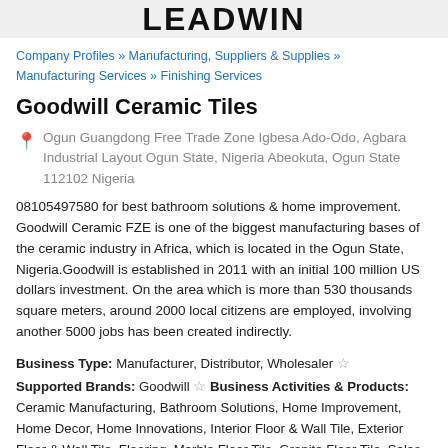LEADWIN
Company Profiles » Manufacturing, Suppliers & Supplies » Manufacturing Services » Finishing Services
Goodwill Ceramic Tiles
Ogun Guangdong Free Trade Zone Igbesa Ado-Odo, Agbara Industrial Layout Ogun State, Nigeria Abeokuta, Ogun State 112102 Nigeria
08105497580 for best bathroom solutions & home improvement. Goodwill Ceramic FZE is one of the biggest manufacturing bases of the ceramic industry in Africa, which is located in the Ogun State, Nigeria.Goodwill is established in 2011 with an initial 100 million US dollars investment. On the area which is more than 530 thousands square meters, around 2000 local citizens are employed, involving another 5000 jobs has been created indirectly.
Business Type: Manufacturer, Distributor, Wholesaler ☆ Supported Brands: Goodwill ☆ Business Activities & Products: Ceramic Manufacturing, Bathroom Solutions, Home Improvement, Home Decor, Home Innovations, Interior Floor & Wall Tile, Exterior Floor & Wall Tile, Flooring, Marble Floor Tile, Granite Floor Tile, Sales Services, Home Depot, Building Materials,